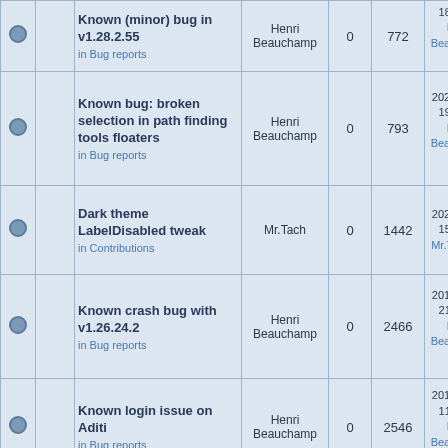|  |  | Topic | Author | Replies | Views | Last Post |
| --- | --- | --- | --- | --- | --- | --- |
|  |  | Known (minor) bug in v1.28.2.55
in Bug reports | Henri Beauchamp | 0 | 772 | 18:28:47
Henri Beauchamp |
|  |  | Known bug: broken selection in path finding tools floaters
in Bug reports | Henri Beauchamp | 0 | 793 | 2021-06-28 19:00:54
Henri Beauchamp |
|  |  | Dark theme LabelDisabled tweak
in Contributions | Mr.Tach | 0 | 1442 | 2020-11-25 15:50:29
Mr.Tach |
|  |  | Known crash bug with v1.26.24.2
in Bug reports | Henri Beauchamp | 0 | 2466 | 2019-11-30 21:43:14
Henri Beauchamp |
|  |  | Known login issue on Aditi
in Bug reports | Henri Beauchamp | 0 | 2546 | 2019-11-27 11:46:28
Henri Beauchamp |
|  |  | DREAMNATION ADOPTS COOL VL VIEWER AS |  |  |  | 2019-10-09 |